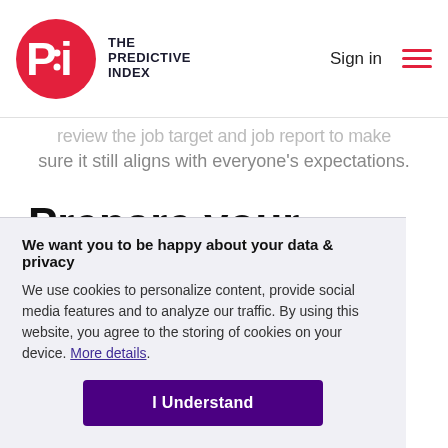The Predictive Index — Sign in
review the job target and job report to make sure it still aligns with everyone's expectations.
Prepare your stakeholders
We want you to be happy about your data & privacy
We use cookies to personalize content, provide social media features and to analyze our traffic. By using this website, you agree to the storing of cookies on your device. More details.
I Understand